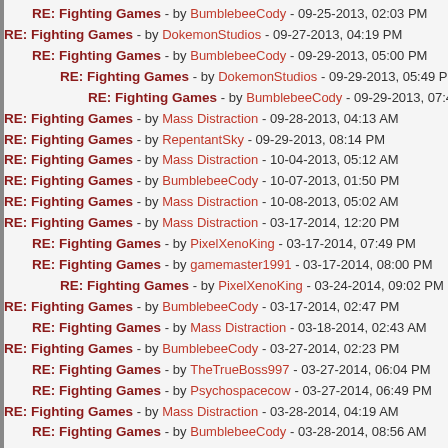RE: Fighting Games - by BumblebeeCody - 09-25-2013, 02:03 PM
RE: Fighting Games - by DokemonStudios - 09-27-2013, 04:19 PM
RE: Fighting Games - by BumblebeeCody - 09-29-2013, 05:00 PM
RE: Fighting Games - by DokemonStudios - 09-29-2013, 05:49 PM
RE: Fighting Games - by BumblebeeCody - 09-29-2013, 07:48 PM
RE: Fighting Games - by Mass Distraction - 09-28-2013, 04:13 AM
RE: Fighting Games - by RepentantSky - 09-29-2013, 08:14 PM
RE: Fighting Games - by Mass Distraction - 10-04-2013, 05:12 AM
RE: Fighting Games - by BumblebeeCody - 10-07-2013, 01:50 PM
RE: Fighting Games - by Mass Distraction - 10-08-2013, 05:02 AM
RE: Fighting Games - by Mass Distraction - 03-17-2014, 12:20 PM
RE: Fighting Games - by PixelXenoKing - 03-17-2014, 07:49 PM
RE: Fighting Games - by gamemaster1991 - 03-17-2014, 08:00 PM
RE: Fighting Games - by PixelXenoKing - 03-24-2014, 09:02 PM
RE: Fighting Games - by BumblebeeCody - 03-17-2014, 02:47 PM
RE: Fighting Games - by Mass Distraction - 03-18-2014, 02:43 AM
RE: Fighting Games - by BumblebeeCody - 03-27-2014, 02:23 PM
RE: Fighting Games - by TheTrueBoss997 - 03-27-2014, 06:04 PM
RE: Fighting Games - by Psychospacecow - 03-27-2014, 06:49 PM
RE: Fighting Games - by Mass Distraction - 03-28-2014, 04:19 AM
RE: Fighting Games - by BumblebeeCody - 03-28-2014, 08:56 AM
RE: Fighting Games - by BumblebeeCody - 03-28-2014, 04:10 PM
RE: Fighting Games - by Mass Distraction - 04-21-2014, 09:40 AM
RE: Fighting Games - by BumblebeeCody - 04-22-2014, 08:46 AM
RE: Fighting Games - by TheTrueBoss997 - 04-23-2014, 07:27 AM